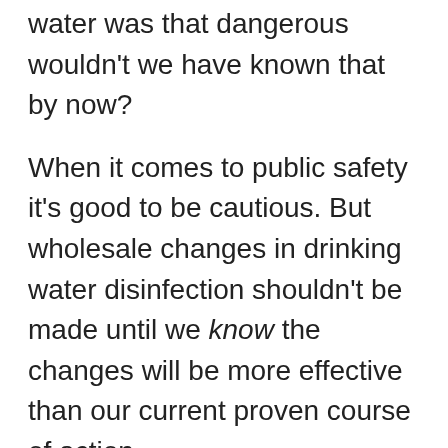water was that dangerous wouldn't we have known that by now?
When it comes to public safety it's good to be cautious. But wholesale changes in drinking water disinfection shouldn't be made until we know the changes will be more effective than our current proven course of action.
On balance, suspected possible long term health problems don't outweigh the known harm of immediately life threatening pathogens that can occur in untreated or ineffecively treated water. I couldn't live with myself if my 4 and 6 year old grandsons died from PAM because they were just goofing around while taking a bath in "pure and natural" water, or